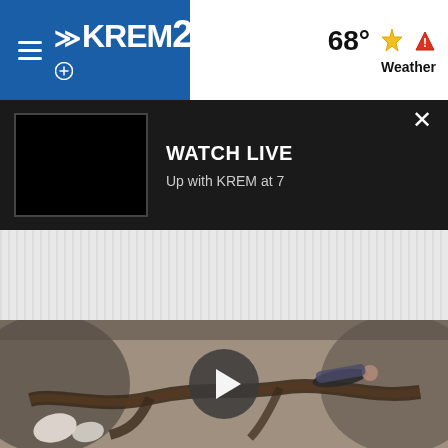[Figure (screenshot): KREM 2 news website header with hamburger menu, KREM2 logo in blue bar, temperature 68° and Weather icon with warning triangle on right]
[Figure (screenshot): WATCH LIVE banner on dark background with black video thumbnail on left showing 'Up with KREM at 7' text and X close button]
[Figure (screenshot): Grey diagonal striped ad/banner area]
[Figure (screenshot): Aerial drone video thumbnail of fossil or large bone/root formation on dry ground with person lying next to it for scale, with circular play button overlay]